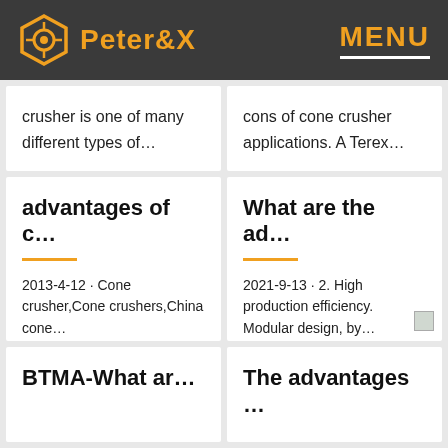Peter&X  MENU
crusher is one of many different types of…
cons of cone crusher applications. A Terex…
advantages of c…
2013-4-12 · Cone crusher,Cone crushers,China cone…
What are the ad…
2021-9-13 · 2. High production efficiency. Modular design, by…
BTMA-What ar…
The advantages …